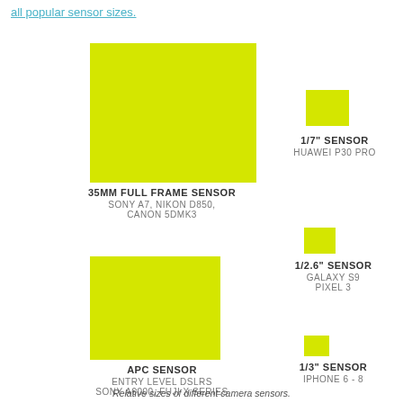all popular sensor sizes.
[Figure (infographic): Comparison of relative sizes of different camera sensors: 35mm Full Frame (large yellow rectangle, left), APC Sensor (medium yellow rectangle, left), 1/7" Sensor (small yellow rectangle, right top), 1/2.6" Sensor (smaller yellow rectangle, right middle), 1/3" Sensor (smallest yellow rectangle, right bottom)]
35MM FULL FRAME SENSOR
SONY A7, NIKON D850,
CANON 5DMK3
1/7" SENSOR
HUAWEI P30 PRO
1/2.6" SENSOR
GALAXY S9
PIXEL 3
APC SENSOR
ENTRY LEVEL DSLRS
SONY A6000, FUJI X SERIES
1/3" SENSOR
IPHONE 6 - 8
Relative sizes of different camera sensors.